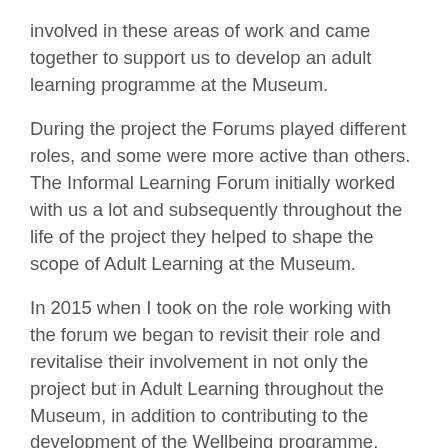involved in these areas of work and came together to support us to develop an adult learning programme at the Museum.
During the project the Forums played different roles, and some were more active than others. The Informal Learning Forum initially worked with us a lot and subsequently throughout the life of the project they helped to shape the scope of Adult Learning at the Museum.
In 2015 when I took on the role working with the forum we began to revisit their role and revitalise their involvement in not only the project but in Adult Learning throughout the Museum, in addition to contributing to the development of the Wellbeing programme.
Since then the forum, now known as the Adult Learning Forum, has gone from strength to strength. They have supported us through the project and with new and ongoing work. Many of the original partners are still with us after the